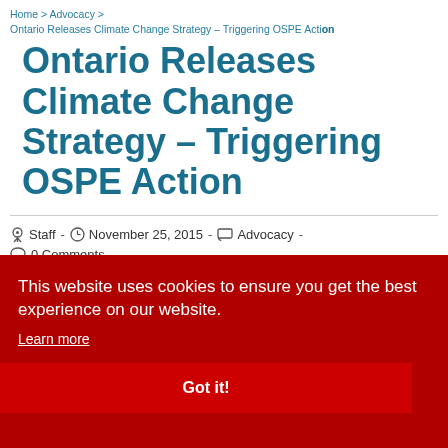Home > Advocacy > Ontario Releases Climate Change Strategy – Triggering OSPE Action
Ontario Releases Climate Change Strategy – Triggering OSPE Action
Staff · November 25, 2015 · Advocacy · 0 Comments
[Figure (screenshot): Red cookie consent banner overlay reading 'This website uses cookies to ensure you get the best experience on our website.' with a Learn more link and a Got it! button. Behind the banner on the right side partial text is visible with fragments including 'terd', 'vem', '24,', '5,', and 'the'. At the bottom a partial image of green leaves and grey background is visible.]